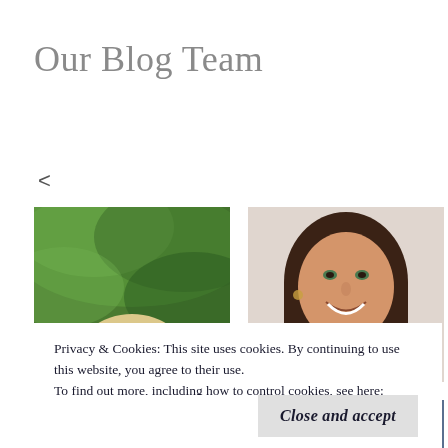Our Blog Team
<
[Figure (photo): Photo of a blonde child from behind with green foliage background]
[Figure (photo): Photo of a smiling woman with brown hair against a light background]
[Figure (photo): Partial photo at bottom left, appears to show a person]
[Figure (photo): Partial photo at bottom right, appears to show a person in red]
Privacy & Cookies: This site uses cookies. By continuing to use this website, you agree to their use.
To find out more, including how to control cookies, see here: Cookie Policy
Close and accept